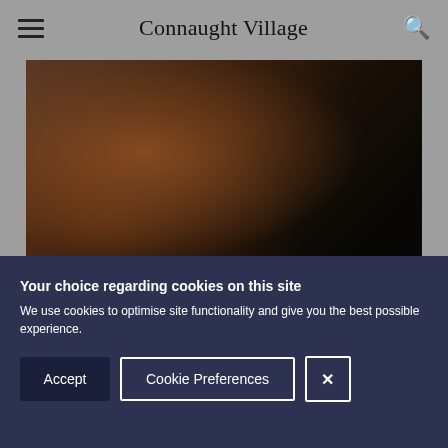Connaught Village
[Figure (photo): Close-up photo of a person with dark hair, warm skin tones visible, dark background on the right side.]
Sarah Milligan
Your choice regarding cookies on this site
We use cookies to optimise site functionality and give you the best possible experience.
Accept | Cookie Preferences | X